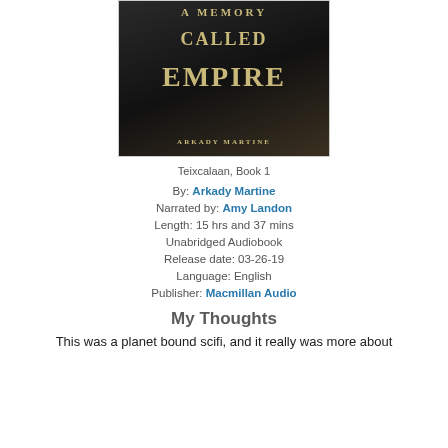[Figure (illustration): Book cover of 'A Memory Called Empire' by Arkady Martine, dark background with gold/tan serif text]
Teixcalaan, Book 1
By: Arkady Martine
Narrated by: Amy Landon
Length: 15 hrs and 37 mins
Unabridged Audiobook
Release date: 03-26-19
Language: English
Publisher: Macmillan Audio
My Thoughts
This was a planet bound scifi, and it really was more about